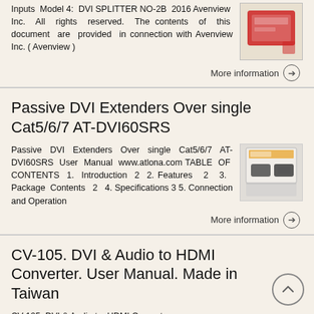Inputs Model 4: DVI SPLITTER NO-2B 2016 Avenview Inc. All rights reserved. The contents of this document are provided in connection with Avenview Inc. ( Avenview )
More information →
Passive DVI Extenders Over single Cat5/6/7 AT-DVI60SRS
Passive DVI Extenders Over single Cat5/6/7 AT-DVI60SRS User Manual www.atlona.com TABLE OF CONTENTS 1. Introduction 2 2. Features 2 3. Package Contents 2 4. Specifications 3 5. Connection and Operation
More information →
CV-105. DVI & Audio to HDMI Converter. User Manual. Made in Taiwan
CV-105. DVI & Audio to HDMI Converter.